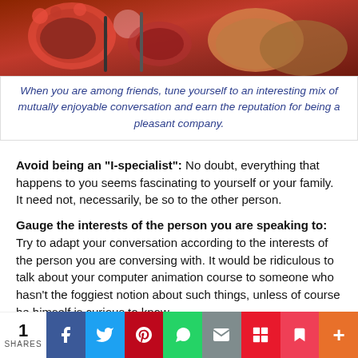[Figure (photo): Photo of food/snacks scene with red decorative items and dishes on a table]
When you are among friends, tune yourself to an interesting mix of mutually enjoyable conversation and earn the reputation for being a pleasant company.
Avoid being an “I-specialist”: No doubt, everything that happens to you seems fascinating to yourself or your family. It need not, necessarily, be so to the other person.
Gauge the interests of the person you are speaking to: Try to adapt your conversation according to the interests of the person you are conversing with. It would be ridiculous to talk about your computer animation course to someone who hasn’t the foggiest notion about such things, unless of course he himself is curious to know.
Never ask prying questions: Taking a genuine interest in what the other person says or does, is not the same as asking indiscreetly prying questions to satisfy your curiosity.
[Figure (infographic): Social sharing bar with share count (1 SHARES) and buttons for Facebook, Twitter, Pinterest, WhatsApp, Email, Flipboard, Pocket, and More]